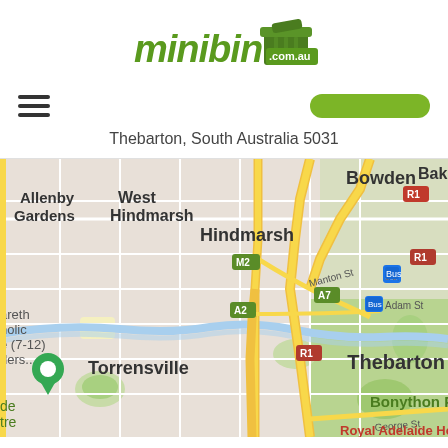[Figure (logo): minibin.com.au green logo with bin icon]
[Figure (other): Navigation bar with hamburger menu icon on left and green order button on right]
Thebarton, South Australia 5031
[Figure (map): Google Maps view showing Thebarton, South Australia area including Hindmarsh, West Hindmarsh, Allenby Gardens, Torrensville, Bowden, and Bonython Park. Roads A7, A2, R1, M2 visible. Green location pin shown near bottom left. Royal Adelaide Hospital label at bottom.]